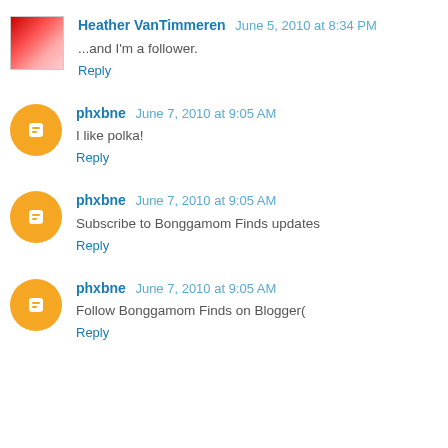Heather VanTimmeren  June 5, 2010 at 8:34 PM
...and I'm a follower.
Reply
phxbne  June 7, 2010 at 9:05 AM
I like polka!
Reply
phxbne  June 7, 2010 at 9:05 AM
Subscribe to Bonggamom Finds updates
Reply
phxbne  June 7, 2010 at 9:05 AM
Follow Bonggamom Finds on Blogger(
Reply